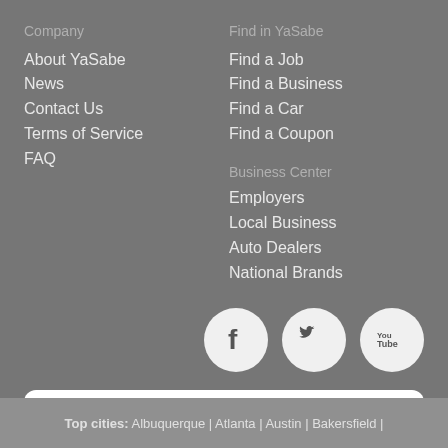Company
About YaSabe
News
Contact Us
Terms of Service
FAQ
Find in YaSabe
Find a Job
Find a Business
Find a Car
Find a Coupon
Business Center
Employers
Local Business
Auto Dealers
National Brands
[Figure (logo): Social media icons: Facebook, Twitter, YouTube]
Ver en Español
Top cities: Albuquerque | Atlanta | Austin | Bakersfield |